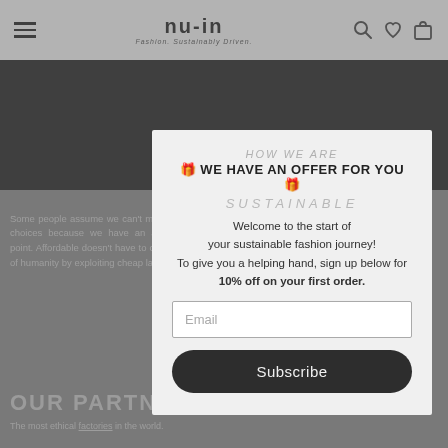nu-in — Fashion. Sustainably Driven.
[Figure (screenshot): Website screenshot showing nu-in fashion brand page with navigation, dark hero banner, and body text about sustainable choices. A modal popup overlay is displayed in the center with an email subscription offer.]
🎁 WE HAVE AN OFFER FOR YOU 🎁
Welcome to the start of your sustainable fashion journey! To give you a helping hand, sign up below for 10% off on your first order.
Email
Subscribe
OUR PARTNERS
The most ethical factories in the world.